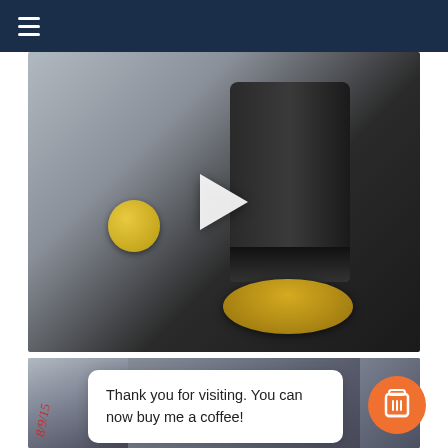[Figure (photo): Close-up photo of a black cylindrical track light with a yellow/gold base ring and a yellow knob on the side bracket, shown on a light gray marble-like surface. A white play button triangle is overlaid in the center.]
[Figure (photo): Partial bottom photo of what appears to be a dark device with red handwriting text visible on the left side.]
Thank you for visiting. You can now buy me a coffee!